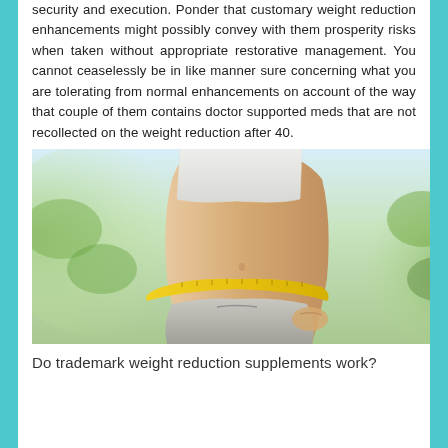security and execution. Ponder that customary weight reduction enhancements might possibly convey with them prosperity risks when taken without appropriate restorative management. You cannot ceaselessly be in like manner sure concerning what you are tolerating from normal enhancements on account of the way that couple of them contains doctor supported meds that are not recollected on the weight reduction after 40.
[Figure (photo): A person measuring their waist with a yellow measuring tape, wearing a white sports bra and light grey pants, with a blurred green outdoor background.]
Do trademark weight reduction supplements work?